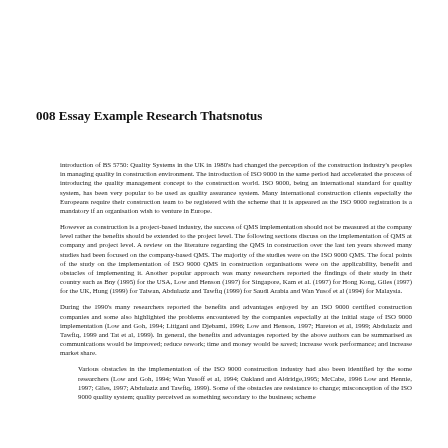008 Essay Example Research Thatsnotus
introduction of BS 5750: Quality Systems in the UK in 1980's had changed the perception of the construction industry's peoples in managing quality in construction environment. The introduction of ISO 9000 in the same period had accelerated the process of introducing the quality management concept to the construction world. ISO 9000, being an international standard for quality system, has been very popular to be used as quality assurance system. Many international construction clients especially the Europeans require their construction team to be registered with the scheme that it is appeared as the ISO 9000 registration is a mandatory if an organisation wish to venture in Europe.
However as construction is a project-based industry, the success of QMS implementation should not be measured at the company level rather the benefits should be extended to the project level. The following sections discuss on the implementation of QMS at company and project level. A review on the literature regarding the QMS in construction over the last ten years showed many studies had been focused on the company-based QMS. The majority of the studies were on the ISO 9000 QMS. The focal points of the study on the implementation of ISO 9000 QMS in construction organisations were on the applicability, benefit and obstacles of implementing it. Another popular approach was many researchers reported the findings of their study in their country such as Bny (1995) for the USA, Low and Henson (1997) for Singapore, Kam et al. (1997) for Hong Kong, Giles (1997) for the UK, Hung (1999) for Taiwan, Abdulaziz and Tawfiq (1999) for Saudi Arabia and Wan Yusof et al (1994) for Malaysia.
During the 1990's many researchers reported the benefits and advantages enjoyed by an ISO 9000 certified construction companies and some also highlighted the problems encountered by the companies especially at the initial stage of ISO 9000 implementation (Low and Goh, 1994; Litigani and Djebami, 1996; Low and Henson, 1997; Hareton et al, 1999; Abdulaziz and Tawfiq, 1999 and Tat et al, 1999). In general, the benefits and advantages reported by the above authors can be summarised as communications would be improved; reduce rework; time and money would be saved; increase work performance; and increase market share.
Various obstacles in the implementation of the ISO 9000 construction industry had also been identified by the some researchers (Low and Goh, 1994; Wan Yusoff et al, 1994; Oakland and Aldridge,1995; McCabe, 1996 Low and Hennie, 1997; Giles, 1997; Abdulaziz and Tawfiq, 1999). Some of the obstacles are resistance to change; misconception of the ISO 9000 quality system; quality perceived as something secondary to the business; scheme